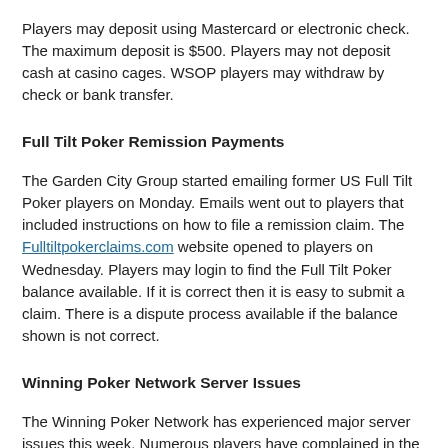Players may deposit using Mastercard or electronic check.  The maximum deposit is $500.  Players may not deposit cash at casino cages.  WSOP players may withdraw by check or bank transfer.
Full Tilt Poker Remission Payments
The Garden City Group started emailing former US Full Tilt Poker players on Monday.  Emails went out to players that included instructions on how to file a remission claim.  The Fulltiltpokerclaims.com website opened to players on Wednesday.  Players may login to find the Full Tilt Poker balance available.  If it is correct then it is easy to submit a claim.  There is a dispute process available if the balance shown is not correct.
Winning Poker Network Server Issues
The Winning Poker Network has experienced major server issues this week.  Numerous players have complained in the Winning Poker forum at Two Plus Two.